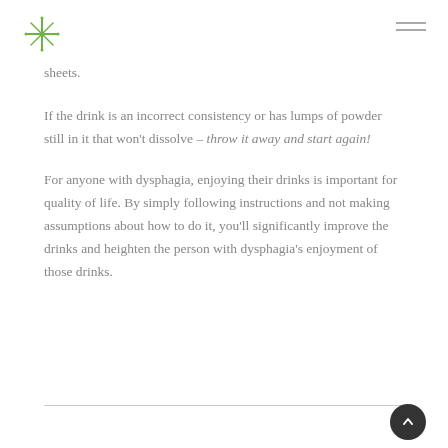sheets.
If the drink is an incorrect consistency or has lumps of powder still in it that won't dissolve – throw it away and start again!
For anyone with dysphagia, enjoying their drinks is important for quality of life. By simply following instructions and not making assumptions about how to do it, you'll significantly improve the drinks and heighten the person with dysphagia's enjoyment of those drinks.